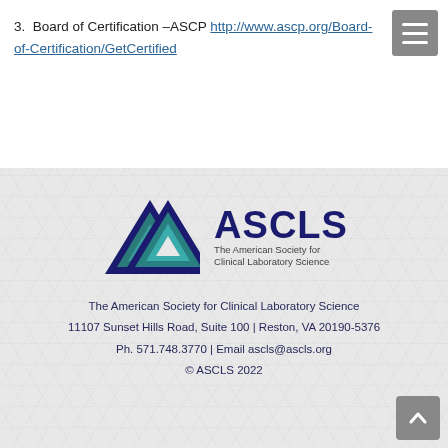3. Board of Certification –ASCP http://www.ascp.org/Board-of-Certification/GetCertified
[Figure (logo): ASCLS logo with triangular arrow mark in teal/dark blue and text 'ASCLS The American Society for Clinical Laboratory Science']
The American Society for Clinical Laboratory Science
11107 Sunset Hills Road, Suite 100 | Reston, VA 20190-5376
Ph. 571.748.3770 | Email ascls@ascls.org
© ASCLS 2022